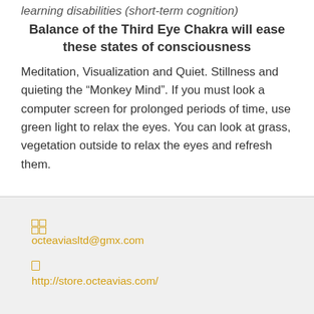learning disabilities (short-term cognition)
Balance of the Third Eye Chakra will ease these states of consciousness
Meditation, Visualization and Quiet. Stillness and quieting the “Monkey Mind”. If you must look a computer screen for prolonged periods of time, use green light to relax the eyes. You can look at grass, vegetation outside to relax the eyes and refresh them.
octeaviasltd@gmx.com
http://store.octeavias.com/